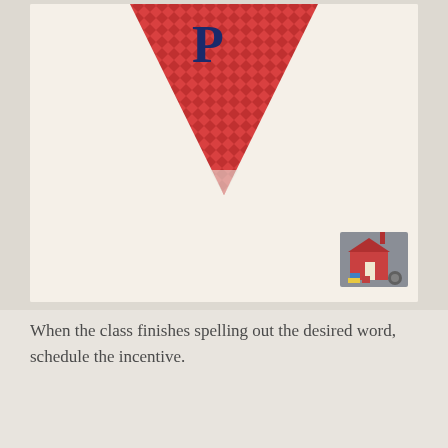[Figure (illustration): A cream/off-white notepad or card with a red diamond-patterned pennant flag (letter P in navy blue) at the top center, and a small illustrated schoolhouse image in the bottom right corner.]
When the class finishes spelling out the desired word, schedule the incentive.